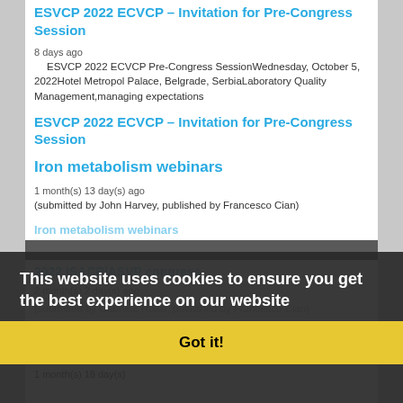ESVCP 2022 ECVCP – Invitation for Pre-Congress Session
8 days ago
ESVCP 2022 ECVCP Pre-Congress SessionWednesday, October 5, 2022Hotel Metropol Palace, Belgrade, SerbiaLaboratory Quality Management,managing expectations
ESVCP 2022 ECVCP – Invitation for Pre-Congress Session
Iron metabolism webinars
1 month(s) 13 day(s) ago
(submitted by John Harvey, published by Francesco Cian)
Iron metabolism webinars
2022 ISACP/ASVP congress
2 month(s) 2 day(s) ago
(submitted by Gabriele Rossi, published by Francesco Cian)
2022 ISACP/ASVP congress
ESVCP research grant
1 month(s) 18 day(s)
This website uses cookies to ensure you get the best experience on our website
Got it!